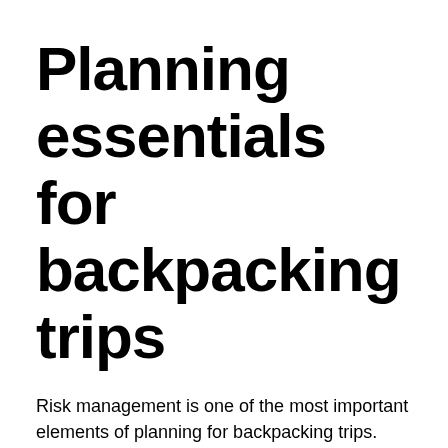Planning essentials for backpacking trips
Risk management is one of the most important elements of planning for backpacking trips. Whether it's your first trip or your two hundredth, spending time thinking through the hazards you might encounter and what you'll do about them is essential both for your own safety and for those with